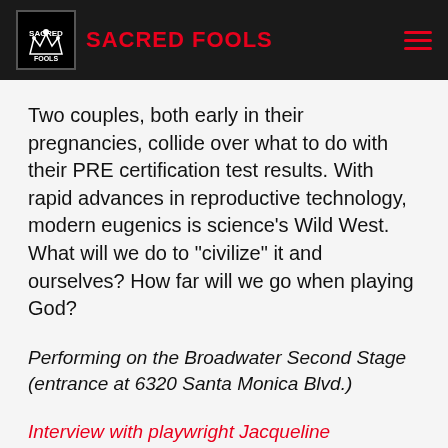SACRED FOOLS
Two couples, both early in their pregnancies, collide over what to do with their PRE certification test results. With rapid advances in reproductive technology, modern eugenics is science's Wild West. What will we do to "civilize" it and ourselves? How far will we go when playing God?
Performing on the Broadwater Second Stage (entrance at 6320 Santa Monica Blvd.)
Interview with playwright Jacqueline Goldfinger on the LAFPI podcast